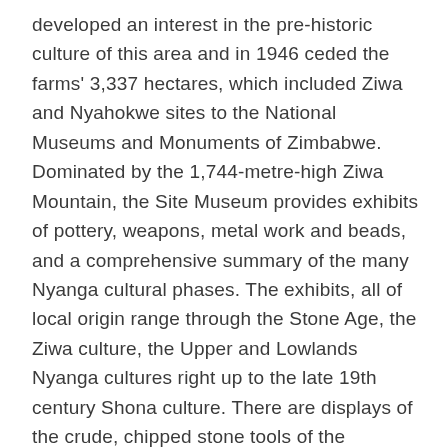developed an interest in the pre-historic culture of this area and in 1946 ceded the farms' 3,337 hectares, which included Ziwa and Nyahokwe sites to the National Museums and Monuments of Zimbabwe. Dominated by the 1,744-metre-high Ziwa Mountain, the Site Museum provides exhibits of pottery, weapons, metal work and beads, and a comprehensive summary of the many Nyanga cultural phases. The exhibits, all of local origin range through the Stone Age, the Ziwa culture, the Upper and Lowlands Nyanga cultures right up to the late 19th century Shona culture. There are displays of the crude, chipped stone tools of the "Sangoan period" of the Early Stone Age, followed by the smaller; more varied, and finely made stone weapons and tools of the succeeding Middle and Late Stone Ages. Late Stone Age San hunter-gatherers left painted rock art sites in the granite shelters in the area. They were succeeded by early Iron-Age communities who probably crossed the Zambezi about 200 AD. They built